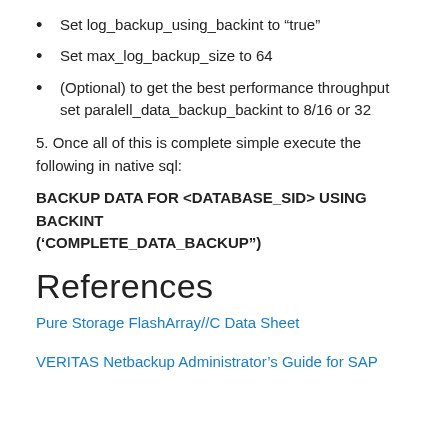Set log_backup_using_backint to “true”
Set max_log_backup_size to 64
(Optional) to get the best performance throughput set paralell_data_backup_backint to 8/16 or 32
5. Once all of this is complete simple execute the following in native sql:
BACKUP DATA FOR <DATABASE_SID> USING BACKINT ('COMPLETE_DATA_BACKUP")
References
Pure Storage FlashArray//C Data Sheet
VERITAS Netbackup Administrator’s Guide for SAP